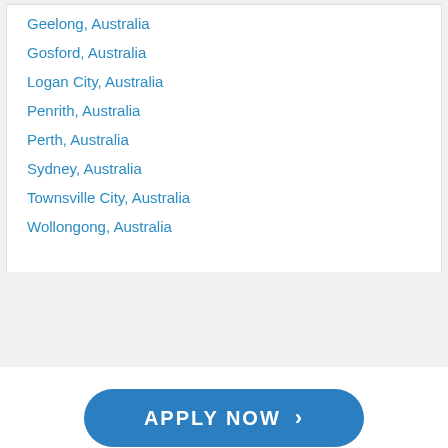Geelong, Australia
Gosford, Australia
Logan City, Australia
Penrith, Australia
Perth, Australia
Sydney, Australia
Townsville City, Australia
Wollongong, Australia
APPLY NOW